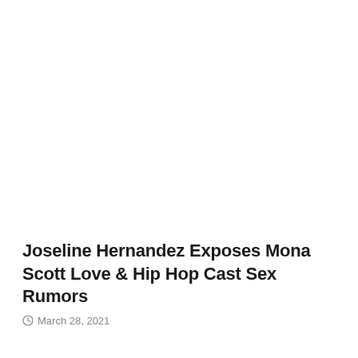Joseline Hernandez Exposes Mona Scott Love & Hip Hop Cast Sex Rumors
March 28, 2021